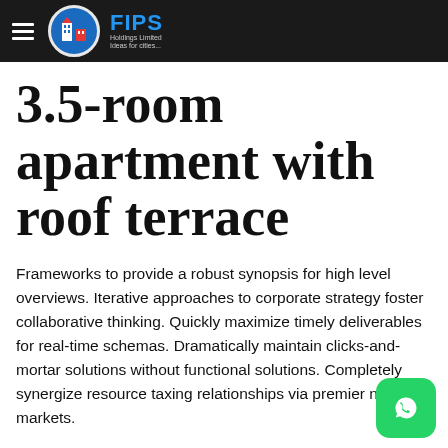FIPS Holdings Limited — Ideas for cities...
3.5-room apartment with roof terrace
Frameworks to provide a robust synopsis for high level overviews. Iterative approaches to corporate strategy foster collaborative thinking. Quickly maximize timely deliverables for real-time schemas. Dramatically maintain clicks-and-mortar solutions without functional solutions. Completely synergize resource taxing relationships via premier niche markets.
[Figure (logo): WhatsApp chat button in bottom right corner]